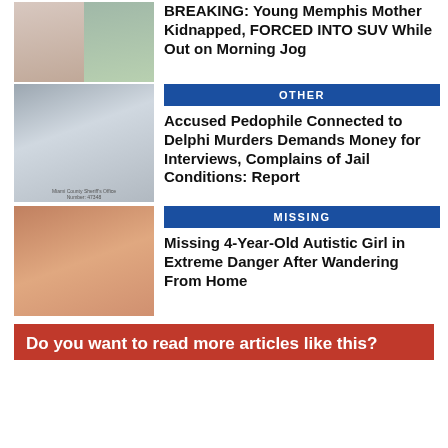[Figure (photo): Two photos side by side of a young woman smiling]
BREAKING: Young Memphis Mother Kidnapped, FORCED INTO SUV While Out on Morning Jog
[Figure (photo): Mugshot of a heavyset young man in a black shirt, Miami County Sheriff's Office]
OTHER
Accused Pedophile Connected to Delphi Murders Demands Money for Interviews, Complains of Jail Conditions: Report
[Figure (photo): Photo of a young Black girl with braids wearing a pink top]
MISSING
Missing 4-Year-Old Autistic Girl in Extreme Danger After Wandering From Home
Do you want to read more articles like this?